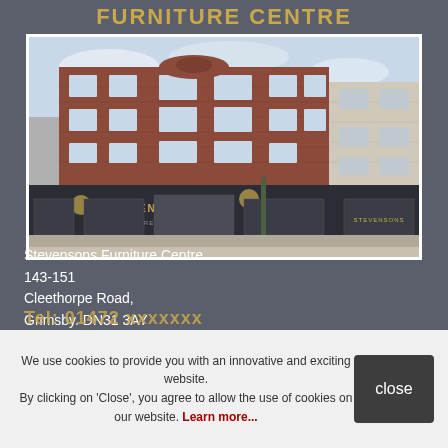FURNITURE CENTRE
[Figure (photo): Exterior photo of Stevensons Furniture Centre, a large red-brick corner building with dark shopfront fascia and display windows, street view.]
Stevensons Furniture Centre
143-151
Cleethorpe Road,
Grimsby. DN31 3AY
We use cookies to provide you with an innovative and exciting website. By clicking on 'Close', you agree to allow the use of cookies on our website. Learn more...